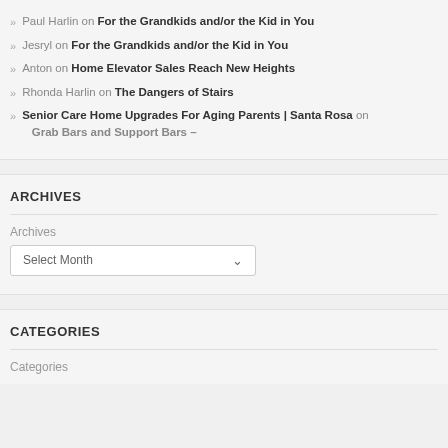Paul Harlin on For the Grandkids and/or the Kid in You
Jesryl on For the Grandkids and/or the Kid in You
Anton on Home Elevator Sales Reach New Heights
Rhonda Harlin on The Dangers of Stairs
Senior Care Home Upgrades For Aging Parents | Santa Rosa on Grab Bars and Support Bars –
ARCHIVES
Archives
Select Month
CATEGORIES
Categories